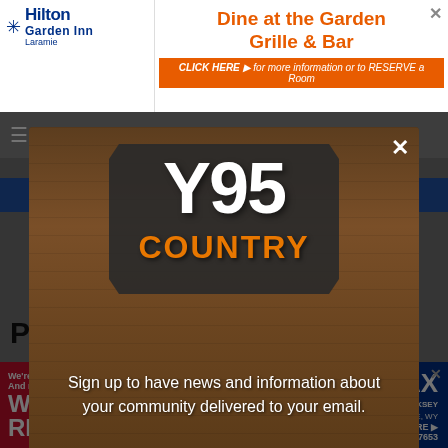[Figure (illustration): Hilton Garden Inn advertisement banner with orange right section showing 'Dine at the Garden Grille & Bar' and orange 'CLICK HERE' call to action bar]
Hilton Garden Inn — Dine at the Garden Grille & Bar — CLICK HERE for more information or to RESERVE a Room
[Figure (screenshot): Y95 Country radio station modal popup overlay on a darkened wood-texture background showing Y95 COUNTRY logo and signup text]
Sign up to have news and information about your community delivered to your email.
PANDEMIC
[Figure (illustration): RE/MAX real estate advertisement banner showing agent Kelly Cooksey, RE/MAX logo, address 316 S 3rd St Laramie WY, phone 307-721-7653, and tagline 'We're not like the others. And neither are you.']